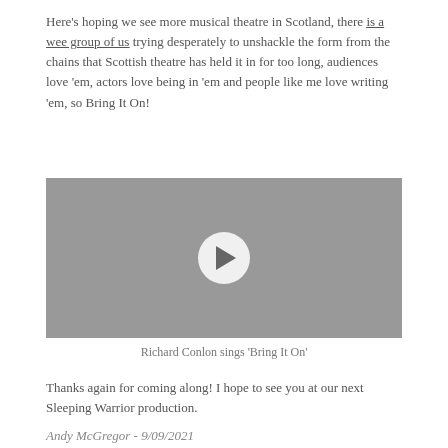Here's hoping we see more musical theatre in Scotland, there is a wee group of us trying desperately to unshackle the form from the chains that Scottish theatre has held it in for too long, audiences love 'em, actors love being in 'em and people like me love writing 'em, so Bring It On!
[Figure (other): Video player thumbnail with gray background and a white circular play button in the center]
Richard Conlon sings 'Bring It On'
Thanks again for coming along! I hope to see you at our next Sleeping Warrior production.
Andy McGregor - 9/09/2021
You may also like